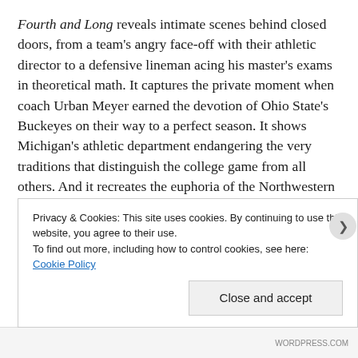Fourth and Long reveals intimate scenes behind closed doors, from a team's angry face-off with their athletic director to a defensive lineman acing his master's exams in theoretical math. It captures the private moment when coach Urban Meyer earned the devotion of Ohio State's Buckeyes on their way to a perfect season. It shows Michigan's athletic department endangering the very traditions that distinguish the college game from all others. And it recreates the euphoria of the Northwestern Wildcats winning their first bowl game in decades, even as they do honor to the student-athlete ideal.
Most unforgettably, Fourth and Long finds what the national...
Privacy & Cookies: This site uses cookies. By continuing to use this website, you agree to their use.
To find out more, including how to control cookies, see here: Cookie Policy
Close and accept